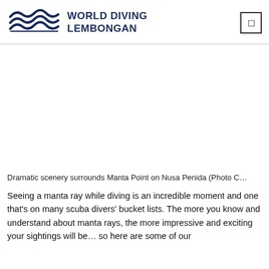[Figure (logo): World Diving Lembongan logo with wave graphic and bold text]
[Figure (photo): Dramatic scenery surrounds Manta Point on Nusa Penida (large image area, mostly white/blank in this crop)]
Dramatic scenery surrounds Manta Point on Nusa Penida (Photo C…
Seeing a manta ray while diving is an incredible moment and one that's on many scuba divers' bucket lists. The more you know and understand about manta rays, the more impressive and exciting your sightings will be… so here are some of our